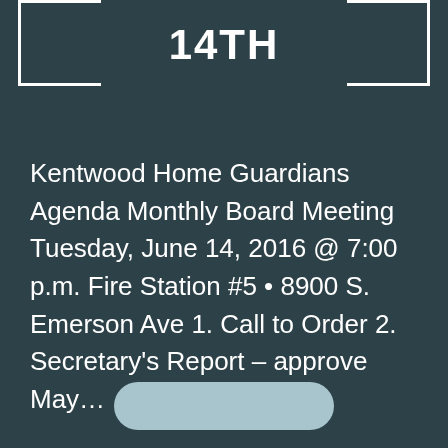14TH
Kentwood Home Guardians Agenda Monthly Board Meeting Tuesday, June 14, 2016 @ 7:00 p.m. Fire Station #5 • 8900 S. Emerson Ave 1. Call to Order 2. Secretary's Report – approve May…